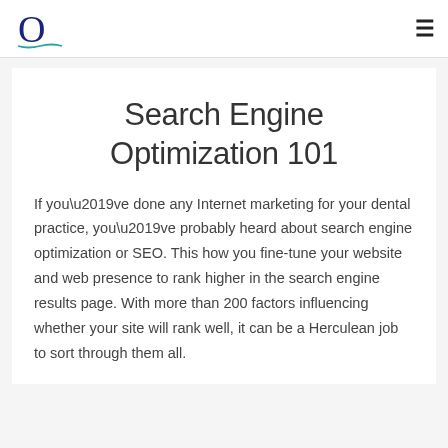O [logo]
Search Engine Optimization 101
If you’ve done any Internet marketing for your dental practice, you’ve probably heard about search engine optimization or SEO. This how you fine-tune your website and web presence to rank higher in the search engine results page. With more than 200 factors influencing whether your site will rank well, it can be a Herculean job to sort through them all.